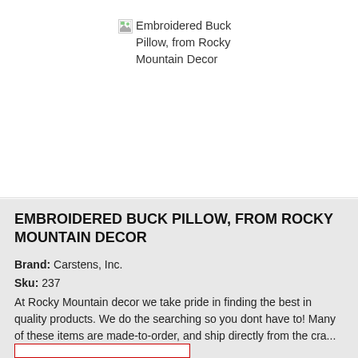[Figure (other): Broken/missing image placeholder with alt text: Embroidered Buck Pillow, from Rocky Mountain Decor]
EMBROIDERED BUCK PILLOW, FROM ROCKY MOUNTAIN DECOR
Brand: Carstens, Inc.
Sku: 237
At Rocky Mountain decor we take pride in finding the best in quality products. We do the searching so you dont have to! Many of these items are made-to-order, and ship directly from the cra...